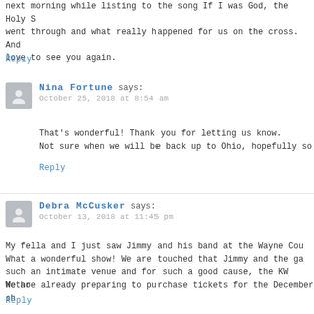next morning while listing to the song If I was God, the Holy S went through and what really happened for us on the cross. And love to see you again.
Reply
Nina Fortune says:
October 25, 2018 at 8:54 am
That's wonderful! Thank you for letting us know. Not sure when we will be back up to Ohio, hopefully so
Reply
Debra McCusker says:
October 13, 2018 at 11:45 pm
My fella and I just saw Jimmy and his band at the Wayne Cou What a wonderful show! We are touched that Jimmy and the ga such an intimate venue and for such a good cause, the KW Metho
We are already preparing to purchase tickets for the December sh
Reply